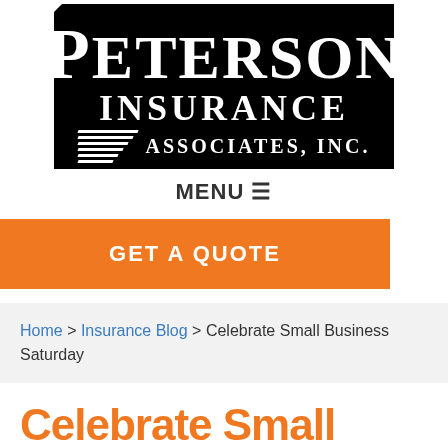[Figure (logo): Peterson Insurance Associates, Inc. logo — white text on black background with diagonal stripe decoration]
MENU ☰
GET A QUOTE
Home > Insurance Blog > Celebrate Small Business Saturday
Celebrate Small